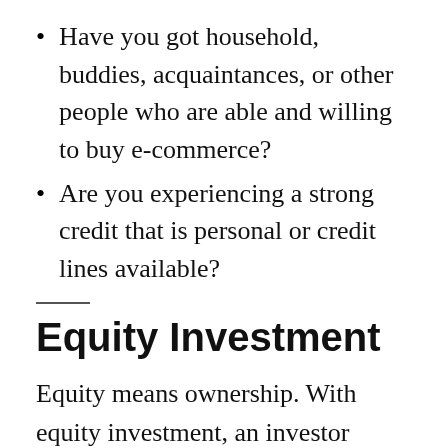Have you got household, buddies, acquaintances, or other people who are able and willing to buy e-commerce?
Are you experiencing a strong credit that is personal or credit lines available?
Equity Investment
Equity means ownership. With equity investment, an investor makes cash readily available for use within change for the